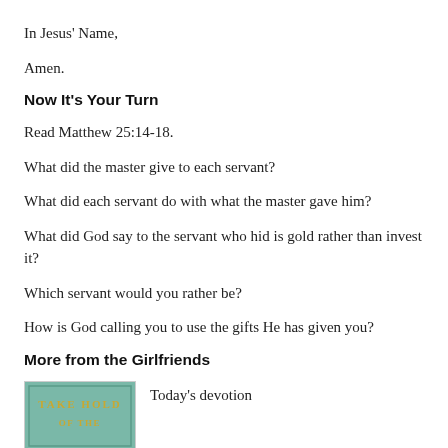In Jesus' Name,
Amen.
Now It's Your Turn
Read Matthew 25:14-18.
What did the master give to each servant?
What did each servant do with what the master gave him?
What did God say to the servant who hid is gold rather than invest it?
Which servant would you rather be?
How is God calling you to use the gifts He has given you?
More from the Girlfriends
[Figure (illustration): Book cover with text 'TAKE HOLD OF THE' on a teal/green background]
Today's devotion